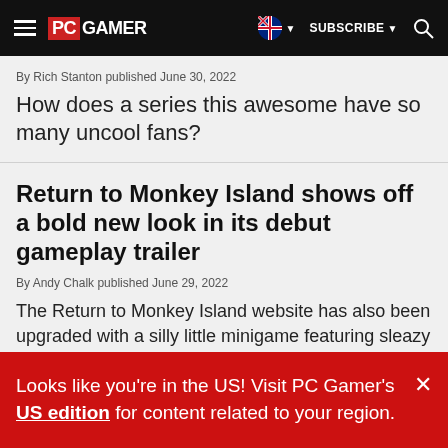PC GAMER — SUBSCRIBE — Search
By Rich Stanton published June 30, 2022
How does a series this awesome have so many uncool fans?
Return to Monkey Island shows off a bold new look in its debut gameplay trailer
By Andy Chalk published June 29, 2022
The Return to Monkey Island website has also been upgraded with a silly little minigame featuring sleazy salesman Stan.
Looks like you're in the US! Visit PC Gamer's US edition for content related to your region.